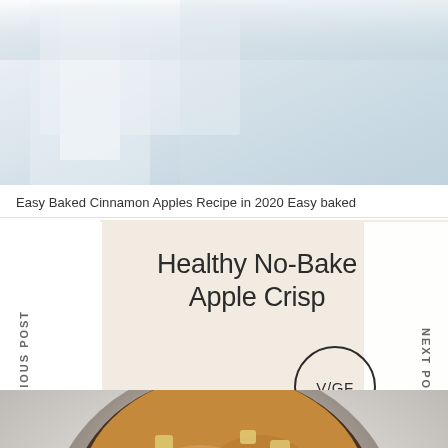[Figure (photo): Top portion of a light, airy kitchen scene with white and grey tones, partially visible]
Easy Baked Cinnamon Apples Recipe in 2020 Easy baked
PREVIOUS POST
Healthy No-Bake Apple Crisp
V/GF
NEXT POST
[Figure (photo): Overhead view of a bowl of healthy no-bake apple crisp with cinnamon sticks and crumble topping in a grey/silver pot]